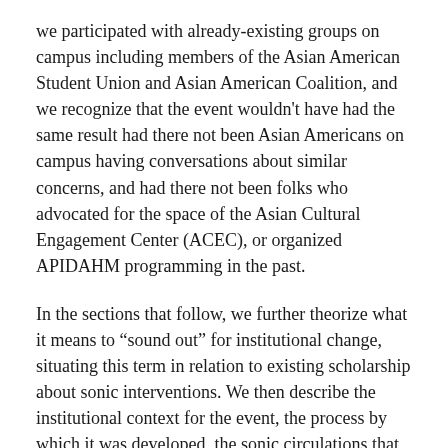we participated with already-existing groups on campus including members of the Asian American Student Union and Asian American Coalition, and we recognize that the event wouldn't have had the same result had there not been Asian Americans on campus having conversations about similar concerns, and had there not been folks who advocated for the space of the Asian Cultural Engagement Center (ACEC), or organized APIDAHM programming in the past.
In the sections that follow, we further theorize what it means to “sound out” for institutional change, situating this term in relation to existing scholarship about sonic interventions. We then describe the institutional context for the event, the process by which it was developed, the sonic circulations that took place during the event, and the reverberations that followed. As a result, we suggest that this webtext offers ways of thinking about how similar events might be attempted and accomplished at other institutions.